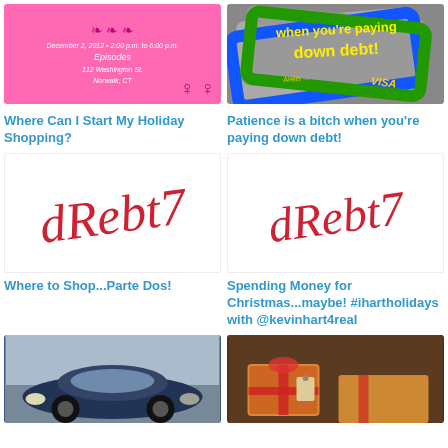[Figure (photo): Pink event flyer for holiday shopping event at Episodes, 112 Washington St, Norwalk CT, December 2, 2012 2:00 p.m. to 6:00 p.m.]
[Figure (photo): Credit cards (blue and green) with text 'when you're paying down debt!' in yellow, Visa card visible]
Where Can I Start My Holiday Shopping?
Patience is a bitch when you're paying down debt!
[Figure (photo): Cursive signature/logo in red script]
[Figure (photo): Cursive signature/logo in red script]
Where to Shop...Parte Dos!
Spending Money for Christmas...maybe! #ihartholidays with @kevinhart4real
[Figure (photo): Blue VW Beetle convertible car on a street]
[Figure (photo): Wrapped Christmas gifts with tags on table]